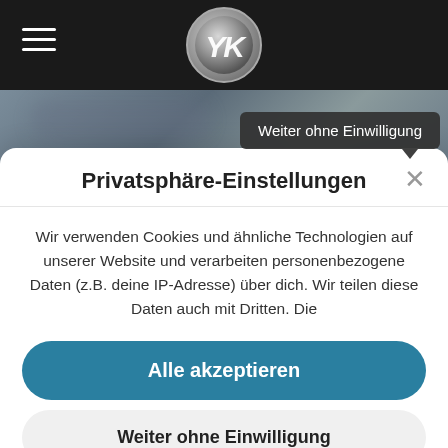[Figure (screenshot): Website header with hamburger menu icon on left and circular logo in center on dark background]
[Figure (screenshot): Hero image area with dark blue-grey rocky/cloudy texture]
Weiter ohne Einwilligung
Privatsphäre-Einstellungen
Wir verwenden Cookies und ähnliche Technologien auf unserer Website und verarbeiten personenbezogene Daten (z.B. deine IP-Adresse) über dich. Wir teilen diese Daten auch mit Dritten. Die
Alle akzeptieren
Weiter ohne Einwilligung
Individuelle Privatsphäre-Einstellungen
Kontakt • Kontakt
WordPress Cookie Hinweis von Real Cookie Banner